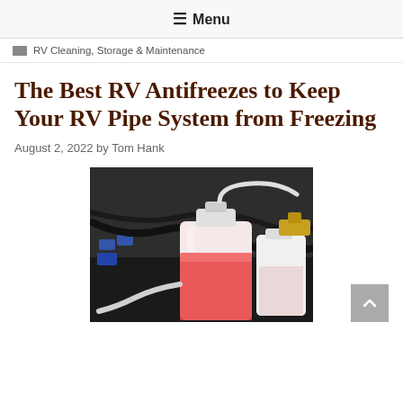≡ Menu
RV Cleaning, Storage & Maintenance
The Best RV Antifreezes to Keep Your RV Pipe System from Freezing
August 2, 2022 by Tom Hank
[Figure (photo): A container of pink/red RV antifreeze with a hose attached, surrounded by RV plumbing pipes and fittings in a dark storage compartment.]